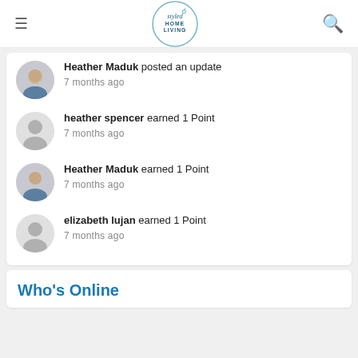Styled Home Living
Heather Maduk posted an update
7 months ago
heather spencer earned 1 Point
7 months ago
Heather Maduk earned 1 Point
7 months ago
elizabeth lujan earned 1 Point
7 months ago
Who's Online